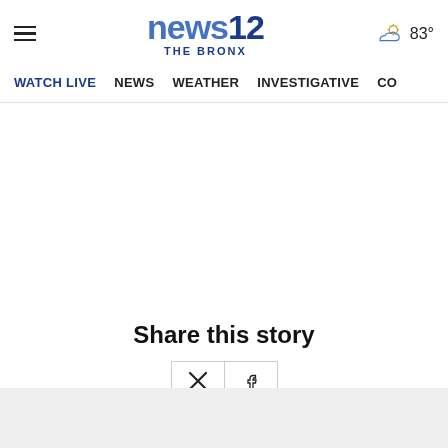news12 THE BRONX — 83°
WATCH LIVE  NEWS  WEATHER  INVESTIGATIVE  CO
Share this story
[Figure (screenshot): Two social share buttons (Twitter/X and Facebook) with border outline]